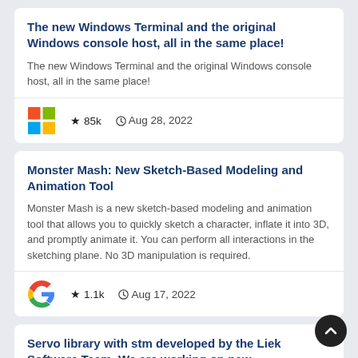The new Windows Terminal and the original Windows console host, all in the same place!
The new Windows Terminal and the original Windows console host, all in the same place!
★ 85k   🕐 Aug 28, 2022
Monster Mash: New Sketch-Based Modeling and Animation Tool
Monster Mash is a new sketch-based modeling and animation tool that allows you to quickly sketch a character, inflate it into 3D, and promptly animate it. You can perform all interactions in the sketching plane. No 3D manipulation is required.
★ 1.1k   🕐 Aug 17, 2022
Servo library with stm developed by the Liek Software Team. We are working on new